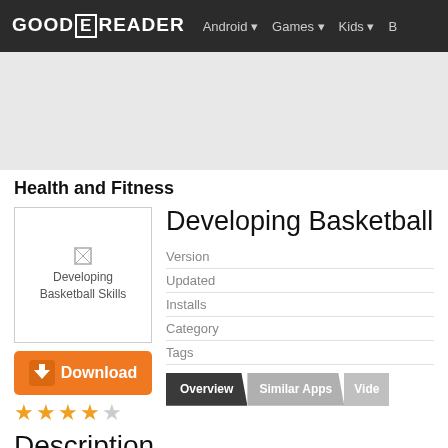GOOD E READER  Android  Games  Kids  B
[Figure (other): Advertisement banner area, light gray background]
Health and Fitness
[Figure (illustration): App icon placeholder for Developing Basketball Skills]
Developing Basketball S
| Version |  |
| Updated |  |
| Installs |  |
| Category |  |
| Tags |  |
Overview  Similar Apps  Vide
Description